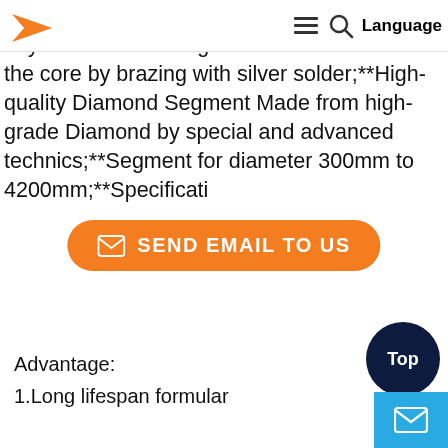Navigation bar with logo arrow, hamburger menu, search icon, and Language label
quality control4.Quick delivery 5-7 daysPoints** The segments are attached to the core by brazing with silver solder;**High-quality Diamond Segment Made from high-grade Diamond by special and advanced technics;**Segment for diameter 300mm to 4200mm;**Specificati
[Figure (other): Orange rounded button with envelope icon and text SEND EMAIL TO US]
Advantage:
1.Long lifespan formular